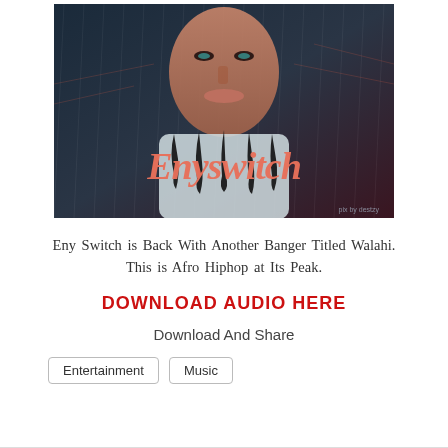[Figure (illustration): Album art for 'Enyswitch' - stylized digital illustration of a person with the cursive text 'Enyswitch' overlaid in salmon/coral color, dark moody background with rain-like lines]
Eny Switch is Back With Another Banger Titled Walahi. This is Afro Hiphop at Its Peak.
DOWNLOAD AUDIO HERE
Download And Share
Entertainment
Music